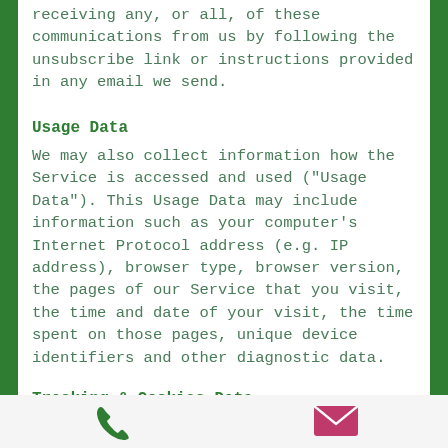receiving any, or all, of these communications from us by following the unsubscribe link or instructions provided in any email we send.
Usage Data
We may also collect information how the Service is accessed and used ("Usage Data"). This Usage Data may include information such as your computer's Internet Protocol address (e.g. IP address), browser type, browser version, the pages of our Service that you visit, the time and date of your visit, the time spent on those pages, unique device identifiers and other diagnostic data.
Tracking & Cookies Data